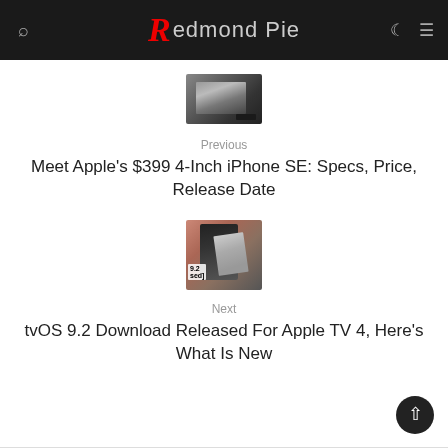Redmond Pie
[Figure (photo): Partially visible stacked iPhone SE devices image at top]
Previous
Meet Apple's $399 4-Inch iPhone SE: Specs, Price, Release Date
[Figure (photo): Apple TV 4 with remote control, showing tvOS 9.2 text overlay]
Next
tvOS 9.2 Download Released For Apple TV 4, Here's What Is New